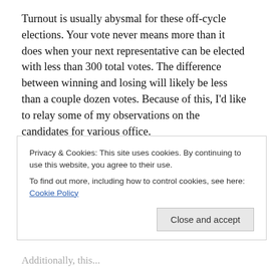Turnout is usually abysmal for these off-cycle elections. Your vote never means more than it does when your next representative can be elected with less than 300 total votes. The difference between winning and losing will likely be less than a couple dozen votes. Because of this, I'd like to relay some of my observations on the candidates for various office.
Carpentersville Village Board
Voters have six candidates running for three open Trustee seats to serve alongside myself and two other Trustees.
[Figure (screenshot): Cookie consent banner overlay. Text: 'Privacy & Cookies: This site uses cookies. By continuing to use this website, you agree to their use. To find out more, including how to control cookies, see here: Cookie Policy'. Button: 'Close and accept'.]
Additionally, there are some aspects of the...